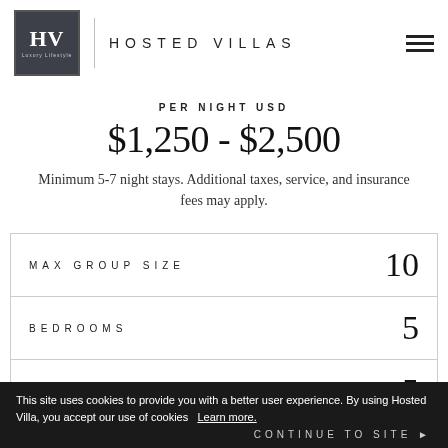HV HOSTED VILLAS
PER NIGHT USD
$1,250 - $2,500
Minimum 5-7 night stays. Additional taxes, service, and insurance fees may apply.
|  |  |
| --- | --- |
| MAX GROUP SIZE | 10 |
| BEDROOMS | 5 |
| BATHROOMS | 5 |
This site uses cookies to provide you with a better user experience. By using Hosted Villa, you accept our use of cookies  Learn more.
CONTINUE TO SITE ▶